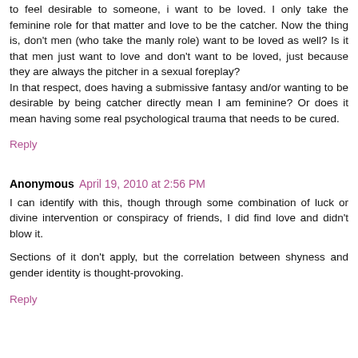to feel desirable to someone, i want to be loved. I only take the feminine role for that matter and love to be the catcher. Now the thing is, don't men (who take the manly role) want to be loved as well? Is it that men just want to love and don't want to be loved, just because they are always the pitcher in a sexual foreplay? In that respect, does having a submissive fantasy and/or wanting to be desirable by being catcher directly mean I am feminine? Or does it mean having some real psychological trauma that needs to be cured.
Reply
Anonymous  April 19, 2010 at 2:56 PM
I can identify with this, though through some combination of luck or divine intervention or conspiracy of friends, I did find love and didn't blow it.
Sections of it don't apply, but the correlation between shyness and gender identity is thought-provoking.
Reply